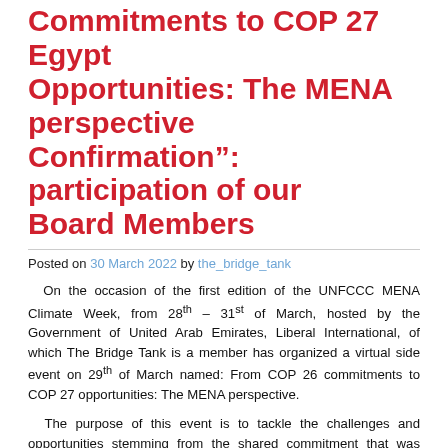Commitments to COP 27 Egypt Opportunities: The MENA perspective Confirmation": participation of our Board Members
Posted on 30 March 2022 by the_bridge_tank
On the occasion of the first edition of the UNFCCC MENA Climate Week, from 28th – 31st of March, hosted by the Government of United Arab Emirates, Liberal International, of which The Bridge Tank is a member has organized a virtual side event on 29th of March named: From COP 26 commitments to COP 27 opportunities: The MENA perspective.
The purpose of this event is to tackle the challenges and opportunities stemming from the shared commitment that was agreed at COP 26 in Glasgow, while looking ahead at COP 27 Egypt as an opportunity to increase ambitions. Moderated by the President of the Liberal International, UN High-level climate champion and our Board Member, Hakima El Haite and champions from participants of the members